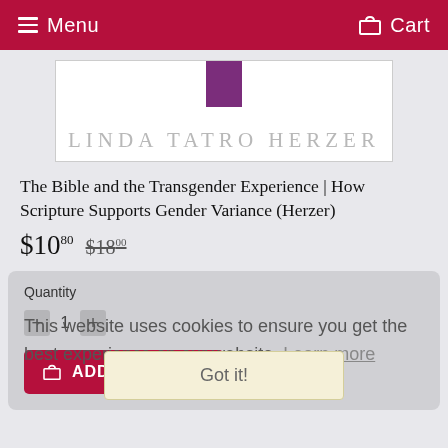Menu  Cart
[Figure (illustration): Book cover showing author name 'LINDA TATRO HERZER' in large light gray letters with a purple rectangle at top center, white background with border]
The Bible and the Transgender Experience | How Scripture Supports Gender Variance (Herzer)
$10.80  $18.00
Quantity
This website uses cookies to ensure you get the best experience on our website. Learn more
Got it!
ADD TO CART